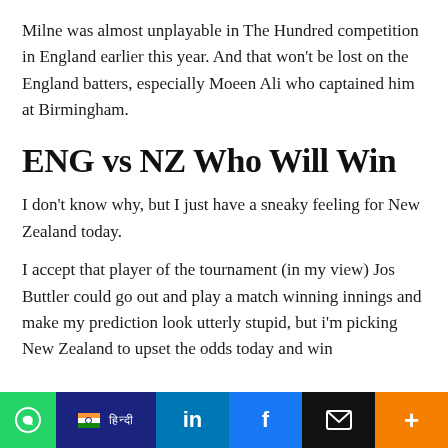Milne was almost unplayable in The Hundred competition in England earlier this year. And that won't be lost on the England batters, especially Moeen Ali who captained him at Birmingham.
ENG vs NZ Who Will Win
I don't know why, but I just have a sneaky feeling for New Zealand today.
I accept that player of the tournament (in my view) Jos Buttler could go out and play a match winning innings and make my prediction look utterly stupid, but i'm picking New Zealand to upset the odds today and win
[Figure (other): Social sharing bar with WhatsApp, Hindi language toggle, LinkedIn, Facebook, Email, and More buttons]